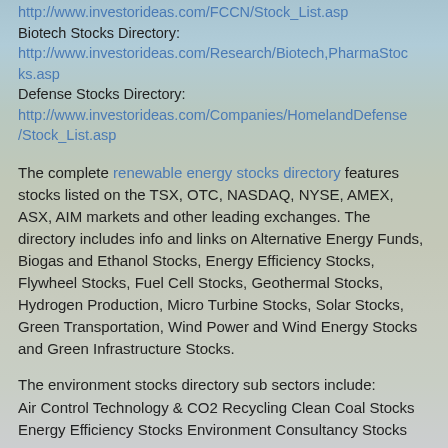http://www.investorideas.com/FCCN/Stock_List.asp
Biotech Stocks Directory:
http://www.investorideas.com/Research/Biotech,PharmaStocks.asp
Defense Stocks Directory:
http://www.investorideas.com/Companies/HomelandDefense/Stock_List.asp
The complete renewable energy stocks directory features stocks listed on the TSX, OTC, NASDAQ, NYSE, AMEX, ASX, AIM markets and other leading exchanges. The directory includes info and links on Alternative Energy Funds, Biogas and Ethanol Stocks, Energy Efficiency Stocks, Flywheel Stocks, Fuel Cell Stocks, Geothermal Stocks, Hydrogen Production, Micro Turbine Stocks, Solar Stocks, Green Transportation, Wind Power and Wind Energy Stocks and Green Infrastructure Stocks.
The environment stocks directory sub sectors include:
Air Control Technology & CO2 Recycling Clean Coal Stocks
Energy Efficiency Stocks Environment Consultancy Stocks